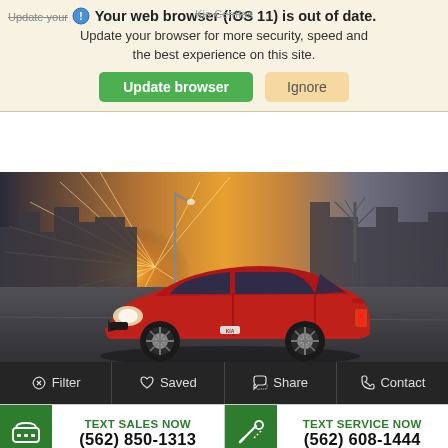Your web browser (iOS 11) is out of date. Update your browser for more security, speed and the best experience on this site.
Update browser | Ignore
[Figure (screenshot): Red Kia Rio sedan photographed in an urban setting with city skyline and dramatic sunburst in background]
Filter | Saved | Share | Contact
TEXT SALES NOW (562) 850-1313 | TEXT SERVICE NOW (562) 608-1444